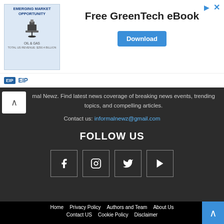[Figure (illustration): Advertisement banner: Emerging Market Opportunity Oil & Gas image on left, 'Free GreenTech eBook' text in center, Download button on right, EIP logo at bottom left, close/share icons top right]
mal Newz. Find latest news coverage of breaking news events, trending topics, and compelling articles.
Contact us: informalnewz@gmail.com
FOLLOW US
[Figure (illustration): Four social media icons in square outlines: Facebook (f), Instagram, Twitter, YouTube]
Home  Privacy Policy  Authors and Team  About Us  Contact US  Cookie Policy  Disclaimer  DNPA Code of Ethics  Ownership and Funding